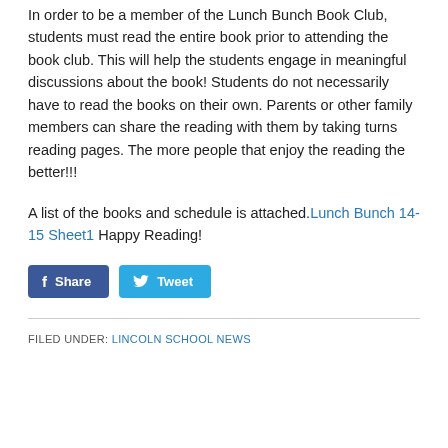In order to be a member of the Lunch Bunch Book Club, students must read the entire book prior to attending the book club. This will help the students engage in meaningful discussions about the book! Students do not necessarily have to read the books on their own. Parents or other family members can share the reading with them by taking turns reading pages. The more people that enjoy the reading the better!!!
A list of the books and schedule is attached. Lunch Bunch 14-15 Sheet1  Happy Reading!
[Figure (other): Social sharing buttons: Facebook Share button and Twitter Tweet button]
FILED UNDER: LINCOLN SCHOOL NEWS